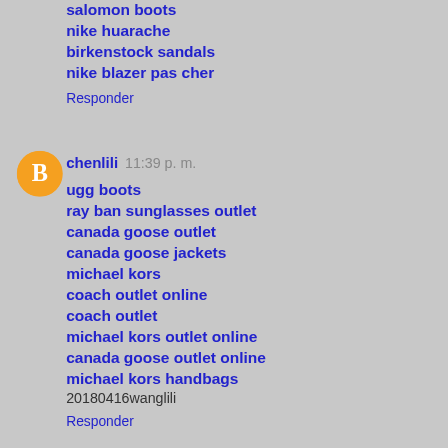salomon boots
nike huarache
birkenstock sandals
nike blazer pas cher
Responder
chenlili  11:39 p. m.
ugg boots
ray ban sunglasses outlet
canada goose outlet
canada goose jackets
michael kors
coach outlet online
coach outlet
michael kors outlet online
canada goose outlet online
michael kors handbags
20180416wanglili
Responder